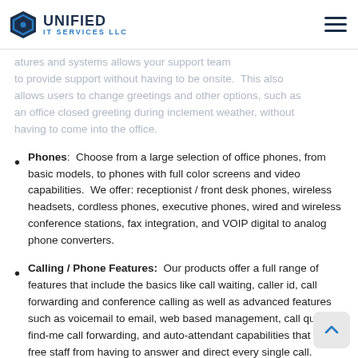Unified IT Services LLC
Remote Management / Access: Full remote administrator features and systems allows your support team to provide support without having to be onsite. This also allows users to change greetings and other options, such as an office closed greeting during inclement weather, without having to come into the office.
Phones: Choose from a large selection of office phones, from basic models, to phones with full color screens and video capabilities. We offer: receptionist / front desk phones, wireless headsets, cordless phones, executive phones, wired and wireless conference stations, fax integration, and VOIP digital to analog phone converters.
Calling / Phone Features: Our products offer a full range of features that include the basics like call waiting, caller id, call forwarding and conference calling as well as advanced features such as voicemail to email, web based management, call queues, find-me call forwarding, and auto-attendant capabilities that can free staff from having to answer and direct every single call.